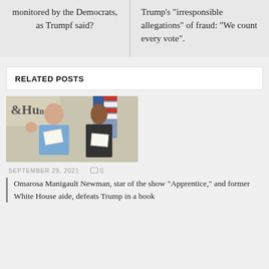monitored by the Democrats, as Trumpf said?
Trump’s “irresponsible allegations” of fraud: “We count every vote”.
RELATED POSTS
[Figure (photo): Two people holding papers, posing in front of an American flag and a sign reading &HUN]
SEPTEMBER 29, 2021   💬 0
Omarosa Manigault Newman, star of the show “Apprentice,” and former White House aide, defeats Trump in a book